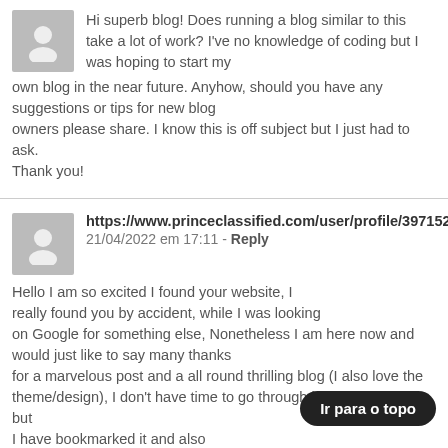Hi superb blog! Does running a blog similar to this take a lot of work? I've no knowledge of coding but I was hoping to start my own blog in the near future. Anyhow, should you have any suggestions or tips for new blog owners please share. I know this is off subject but I just had to ask. Thank you!
https://www.princeclassified.com/user/profile/397152
21/04/2022 em 17:11 - Reply
Hello I am so excited I found your website, I really found you by accident, while I was looking on Google for something else, Nonetheless I am here now and would just like to say many thanks for a marvelous post and a all round thrilling blog (I also love the theme/design), I don't have time to go through it all at the minute but I have bookmarked it and also added your RSS feeds, so when I have time I will be back to read much more, Please do keep up the excellent work.
Ir para o topo